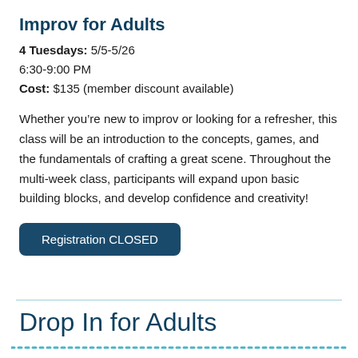Improv for Adults
4 Tuesdays: 5/5-5/26
6:30-9:00 PM
Cost: $135 (member discount available)
Whether you’re new to improv or looking for a refresher, this class will be an introduction to the concepts, games, and the fundamentals of crafting a great scene. Throughout the multi-week class, participants will expand upon basic building blocks, and develop confidence and creativity!
Registration CLOSED
Drop In for Adults